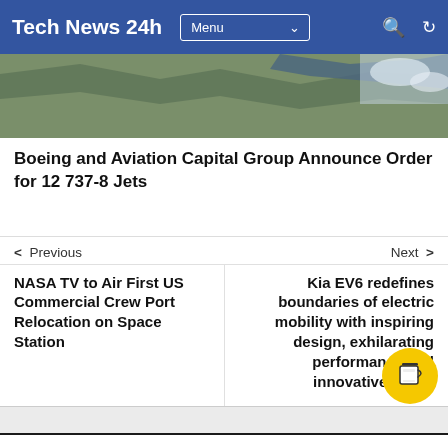Tech News 24h  Menu
[Figure (photo): Aerial photograph of a coastline city with water, land, and clouds visible]
Boeing and Aviation Capital Group Announce Order for 12 737-8 Jets
< Previous    Next >
NASA TV to Air First US Commercial Crew Port Relocation on Space Station
Kia EV6 redefines boundaries of electric mobility with inspiring design, exhilarating performance and innovative space